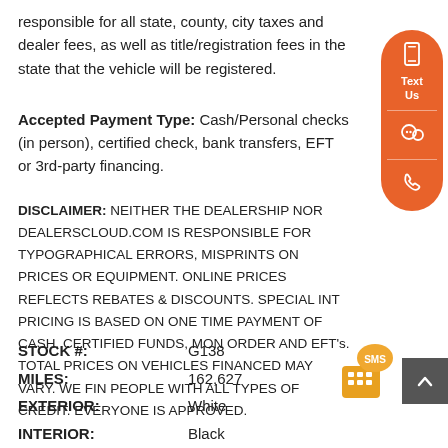responsible for all state, county, city taxes and dealer fees, as well as title/registration fees in the state that the vehicle will be registered.
Accepted Payment Type: Cash/Personal checks (in person), certified check, bank transfers, EFT or 3rd-party financing.
DISCLAIMER: NEITHER THE DEALERSHIP NOR DEALERSCLOUD.COM IS RESPONSIBLE FOR TYPOGRAPHICAL ERRORS, MISPRINTS ON PRICES OR EQUIPMENT. ONLINE PRICES REFLECTS REBATES & DISCOUNTS. SPECIAL INTERNET PRICING IS BASED ON ONE TIME PAYMENT OF CASH, CERTIFIED FUNDS, MONEY ORDER AND EFT's. TOTAL PRICES ON VEHICLES FINANCED MAY VARY. WE FINANCE PEOPLE WITH ALL TYPES OF CREDIT. EVERYONE IS APPROVED.
STOCK #: G138
MILES: 162,627
EXTERIOR: White
INTERIOR: Black